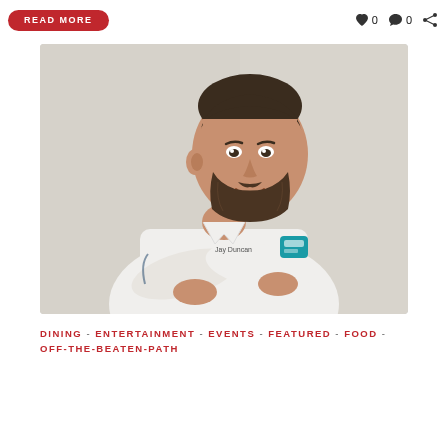READ MORE
0  0
[Figure (photo): A smiling male chef with a beard, wearing a white chef's coat with arms crossed, against a light gray background.]
DINING - ENTERTAINMENT - EVENTS - FEATURED - FOOD - OFF-THE-BEATEN-PATH